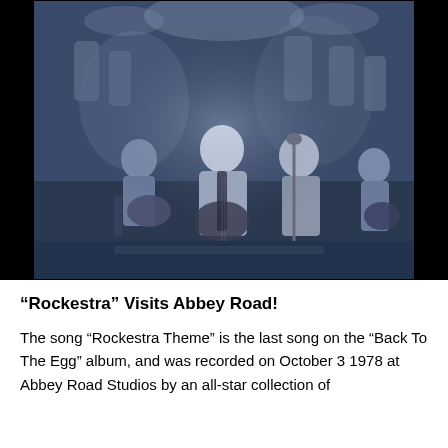[Figure (photo): Blue-tinted black and white photograph of musicians performing on stage. Multiple people playing guitars and other instruments, with a central figure playing an acoustic guitar. Large group of performers visible in the background.]
“Rockestra” Visits Abbey Road!
The song “Rockestra Theme” is the last song on the “Back To The Egg” album, and was recorded on October 3 1978 at Abbey Road Studios by an all-star collection of